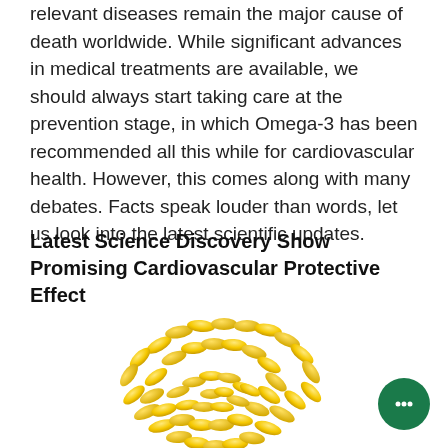relevant diseases remain the major cause of death worldwide. While significant advances in medical treatments are available, we should always start taking care at the prevention stage, in which Omega-3 has been recommended all this while for cardiovascular health. However, this comes along with many debates. Facts speak louder than words, let us look into the latest scientific updates.
Latest Science Discovery Show Promising Cardiovascular Protective Effect
[Figure (photo): Yellow omega-3 fish oil capsules arranged in the shape of a heart on a white background]